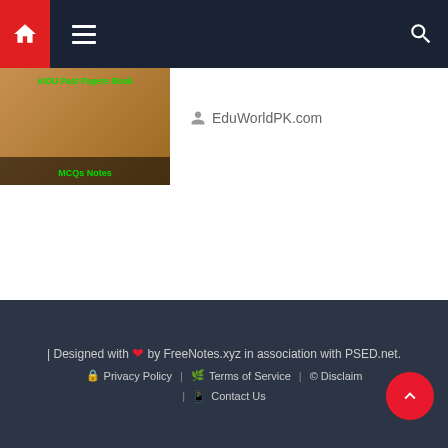Navigation bar with home, menu, and search icons
[Figure (photo): Thumbnail image with text 'AIOU Past Papers Book MCQs Notes']
EduWorldPK.com
TAGS
Admissions
AIOU MEd Past Papers
FBR
How to?
LUMS
Pak eServices
Pakistan Government Programs
PPSC Lecturer Jobs
| Designed with ❤ by FreeNotes.xyz in association with PSED.net. | Privacy Policy | Terms of Service | © Disclaimer | Contact Us